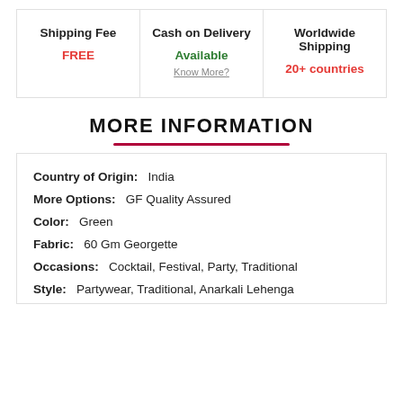| Shipping Fee | Cash on Delivery | Worldwide Shipping |
| --- | --- | --- |
| FREE | Available
Know More? | 20+ countries |
MORE INFORMATION
Country of Origin:   India
More Options:   GF Quality Assured
Color:   Green
Fabric:   60 Gm Georgette
Occasions:   Cocktail, Festival, Party, Traditional
Style:   Partywear, Traditional, Anarkali Lehenga